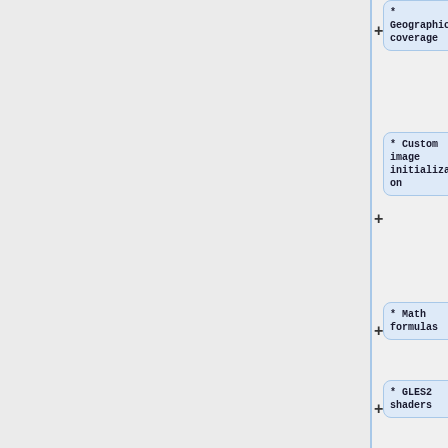* Geographic coverage
* Custom image initialization
* Math formulas
* GLES2 shaders
Additionally, the COMMON profile is the superset of all the common features
Additionally, the COMMON profile is the superset of all the common features